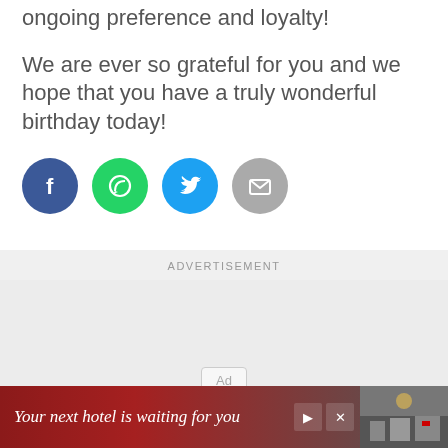our appreciation for you and your ongoing preference and loyalty!
We are ever so grateful for you and we hope that you have a truly wonderful birthday today!
[Figure (infographic): Four social sharing icons: Facebook (blue circle), WhatsApp (green circle), Twitter (cyan circle), Email (gray circle)]
ADVERTISEMENT
[Figure (other): Advertisement placeholder box with 'Ad' label]
[Figure (other): Bottom banner advertisement: 'Your next hotel is waiting for you' with hotel image and close/skip controls]